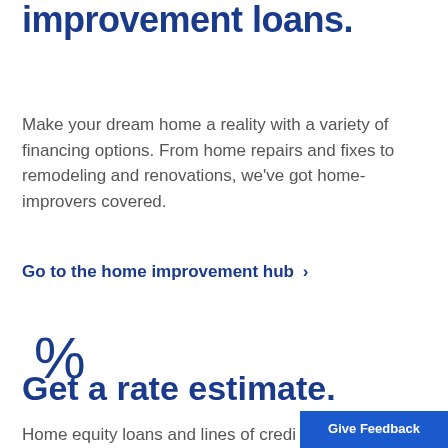improvement loans.
Make your dream home a reality with a variety of financing options. From home repairs and fixes to remodeling and renovations, we've got home-improvers covered.
Go to the home improvement hub >
[Figure (illustration): Percent symbol icon in dark blue]
Get a rate estimate.
Home equity loans and lines of credi